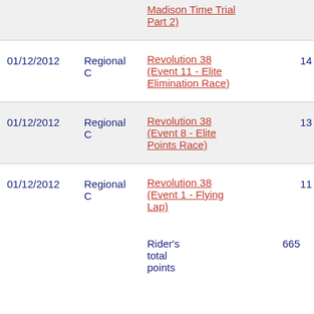| Date | Category | Event | Points | Bonus |
| --- | --- | --- | --- | --- |
|  |  | Madison Time Trial Part 2) |  |  |
| 01/12/2012 | Regional C | Revolution 38 (Event 11 - Elite Elimination Race) | 14 | 0 |
| 01/12/2012 | Regional C | Revolution 38 (Event 8 - Elite Points Race) | 13 | 0 |
| 01/12/2012 | Regional C | Revolution 38 (Event 1 - Flying Lap) | 11 | 0 |
|  | Rider's total points |  |  | 665 |